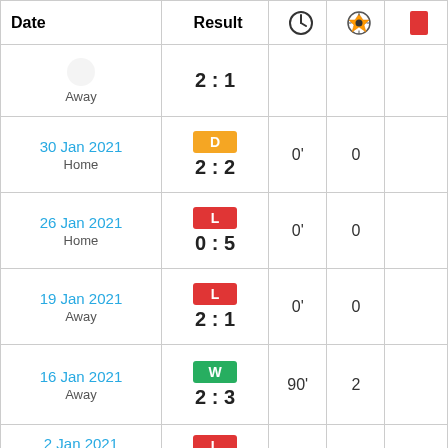| Date | Result | ⏱ | ⚽ | 🟥 |
| --- | --- | --- | --- | --- |
| Away | 2:1 |  |  |  |
| 30 Jan 2021
Home | D 2:2 | 0' | 0 |  |
| 26 Jan 2021
Home | L 0:5 | 0' | 0 |  |
| 19 Jan 2021
Away | L 2:1 | 0' | 0 |  |
| 16 Jan 2021
Away | W 2:3 | 90' | 2 |  |
| 2 Jan 2021
 | L 0:? | 0' | 0 |  |